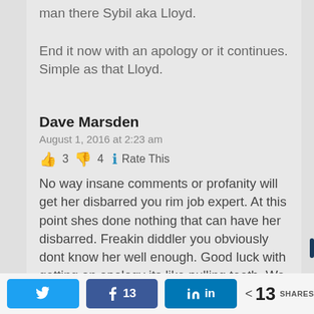man there Sybil aka Lloyd.
End it now with an apology or it continues. Simple as that Lloyd.
Dave Marsden
August 1, 2016 at 2:23 am
👍 3 👎 4 ℹ Rate This
No way insane comments or profanity will get her disbarred you rim job expert. At this point shes done nothing that can have her disbarred. Freakin diddler you obviously dont know her well enough. Good luck with getting an apology its like pulling teeth. We have seen your picture trust me her husband would
Twitter  Facebook 13  LinkedIn  < 13 SHARES